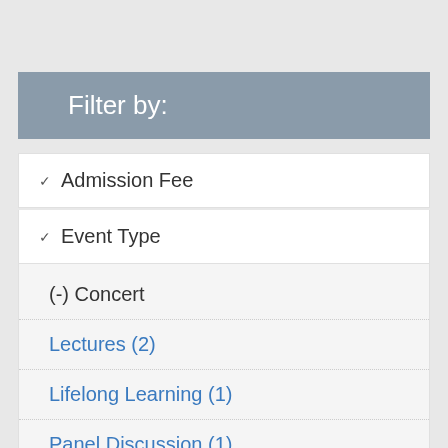Filter by:
Admission Fee
Event Type
(-) Concert
Lectures (2)
Lifelong Learning (1)
Panel Discussion (1)
Interest Area
(-) Arts & Culture